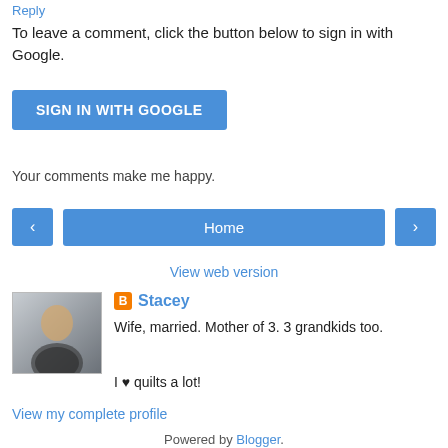Reply
To leave a comment, click the button below to sign in with Google.
[Figure (other): Blue 'SIGN IN WITH GOOGLE' button]
Your comments make me happy.
[Figure (other): Navigation bar with left arrow, Home button, and right arrow]
View web version
[Figure (photo): Profile photo of Stacey]
Stacey
Wife, married. Mother of 3. 3 grandkids too.
I ♥ quilts a lot!
View my complete profile
Powered by Blogger.